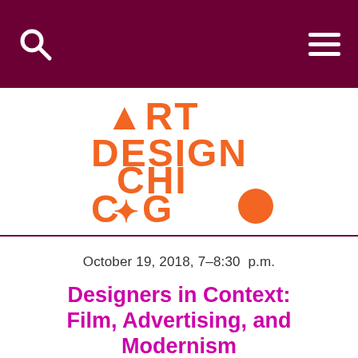[Figure (logo): Art Design Chicago logo in orange block lettering with geometric shapes: triangle for A, star for star in Chicago, circle for O]
October 19, 2018, 7–8:30 p.m.
Designers in Context: Film, Advertising, and Modernism
The Block Museum of Art, Northwestern University